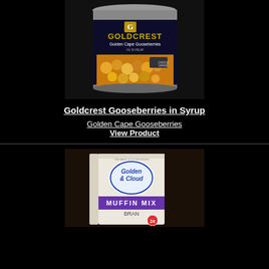[Figure (photo): Goldcrest Golden Cape Gooseberries in Syrup canned product, dark background, large tin with gold/dark label showing gooseberries]
Goldcrest Gooseberries in Syrup
Golden Cape Gooseberries
View Product
[Figure (photo): Golden Cloud Muffin Mix Bran product box, white/cream colored packaging with purple banner and circular logo]